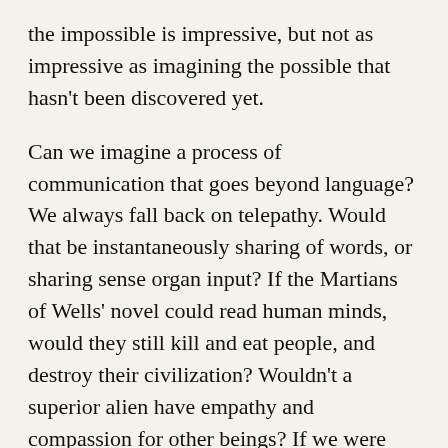the impossible is impressive, but not as impressive as imagining the possible that hasn't been discovered yet.

Can we imagine a process of communication that goes beyond language? We always fall back on telepathy. Would that be instantaneously sharing of words, or sharing sense organ input? If the Martians of Wells' novel could read human minds, would they still kill and eat people, and destroy their civilization? Wouldn't a superior alien have empathy and compassion for other beings? If we were really superior to animals would we eat them and kill them the way we do? Aren't we just acting like animals, the way we do?